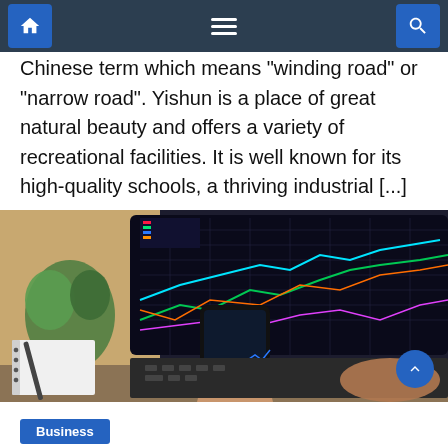[Navigation bar with home, menu, and search icons]
Chinese term which means "winding road" or "narrow road". Yishun is a place of great natural beauty and offers a variety of recreational facilities. It is well known for its high-quality schools, a thriving industrial [...]
[Figure (photo): Person holding a smartphone displaying stock market charts, with a laptop showing colorful trading charts on screen, a notebook and plant in the background on a desk.]
Business